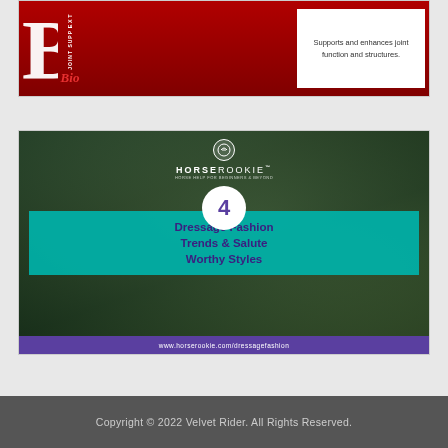[Figure (illustration): Advertisement for a joint supplement product (Bio brand), partially visible. Red background with large white 'Bi' letters and product text 'EXT... JOINT SUPP... Bio' alongside text 'Supports and enhances joint function and structures.' with supplement imagery.]
[Figure (illustration): HorseRookie branded image showing '4 Dressage Fashion Trends & Salute Worthy Styles' overlaid on a dark equestrian background photo. Teal box with purple text, white circle with number 4, HorseRookie logo at top, purple URL bar at bottom reading www.horserookie.com/dressagefashion.]
Copyright © 2022 Velvet Rider. All Rights Reserved.